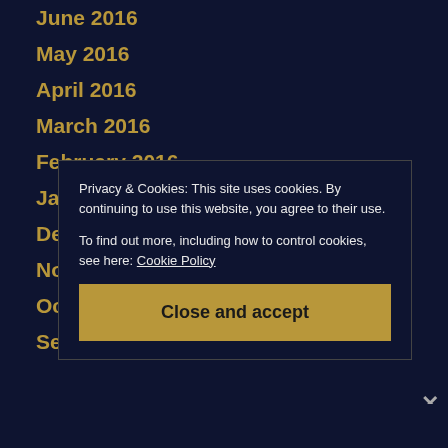June 2016
May 2016
April 2016
March 2016
February 2016
January 2016
December 2015
November 2015
October 2015
September 2015
Privacy & Cookies: This site uses cookies. By continuing to use this website, you agree to their use.
To find out more, including how to control cookies, see here: Cookie Policy
Close and accept